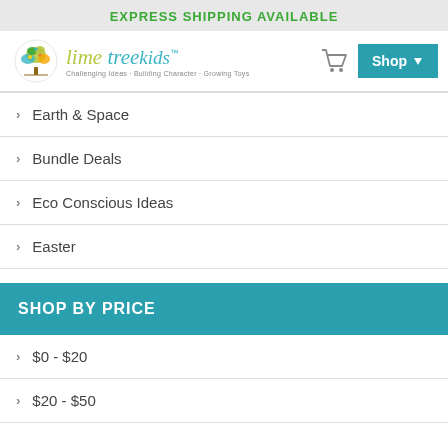EXPRESS SHIPPING AVAILABLE
[Figure (logo): Lime Tree Kids logo with colorful tree icon and stylized text]
Earth & Space
Bundle Deals
Eco Conscious Ideas
Easter
SHOP BY PRICE
$0 - $20
$20 - $50